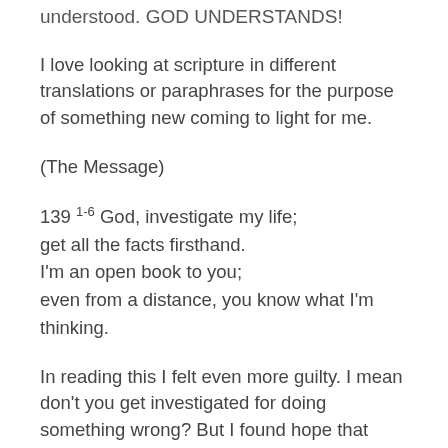understood. GOD UNDERSTANDS!
I love looking at scripture in different translations or paraphrases for the purpose of something new coming to light for me.
(The Message)
139 1-6 God, investigate my life;
get all the facts firsthand.
I'm an open book to you;
even from a distance, you know what I'm thinking.
In reading this I felt even more guilty. I mean don't you get investigated for doing something wrong? But I found hope that He'd get all of the facts firsthand. He's not gathering SOME facts, but ALL of them. I know that with